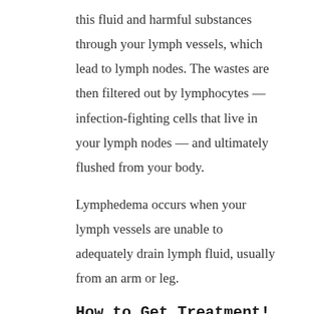this fluid and harmful substances through your lymph vessels, which lead to lymph nodes. The wastes are then filtered out by lymphocytes — infection-fighting cells that live in your lymph nodes — and ultimately flushed from your body.
Lymphedema occurs when your lymph vessels are unable to adequately drain lymph fluid, usually from an arm or leg.
How to Get Treatment!
Leg and foot pain, no matter how mild, is not natural. If you are experiencing pain or noticing a change in your feet you should seek medical care right away. Early care can help prevent the condition